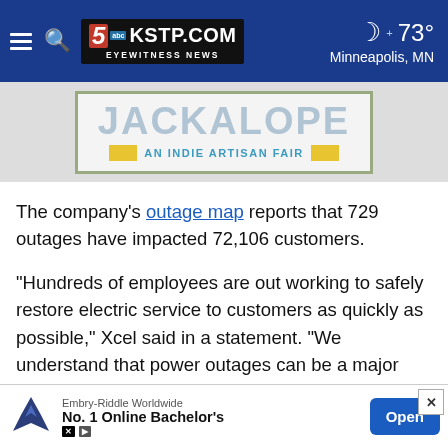KSTP.COM EYEWITNESS NEWS — 73° Minneapolis, MN
[Figure (logo): Jackalope An Indie Artisan Fair banner advertisement]
The company's outage map reports that 729 outages have impacted 72,106 customers.
“Hundreds of employees are out working to safely restore electric service to customers as quickly as possible,” Xcel said in a statement. “We understand that power outages can be a major inconvenience for customers, and we appreciate customers’ understanding, patience and kindness as our crew members work to restore power.”
Xcel said people should use caution and avoid downed lines, live wires ...leaks can be...
[Figure (screenshot): Embry-Riddle Worldwide No. 1 Online Bachelor's advertisement with Open button]